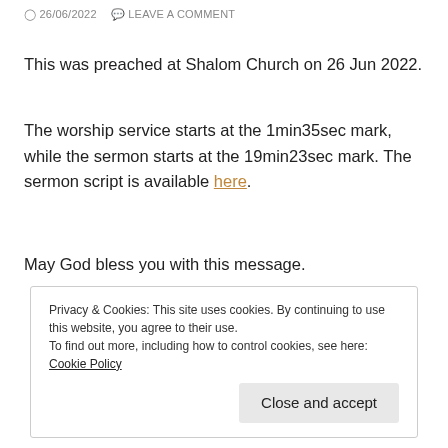26/06/2022  LEAVE A COMMENT
This was preached at Shalom Church on 26 Jun 2022.
The worship service starts at the 1min35sec mark, while the sermon starts at the 19min23sec mark. The sermon script is available here.
May God bless you with this message.
Privacy & Cookies: This site uses cookies. By continuing to use this website, you agree to their use.
To find out more, including how to control cookies, see here: Cookie Policy
Close and accept